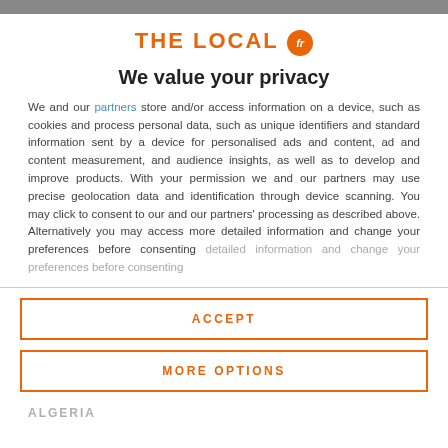[Figure (logo): THE LOCAL fr logo with orange text and orange circle with 'fr' in white]
We value your privacy
We and our partners store and/or access information on a device, such as cookies and process personal data, such as unique identifiers and standard information sent by a device for personalised ads and content, ad and content measurement, and audience insights, as well as to develop and improve products. With your permission we and our partners may use precise geolocation data and identification through device scanning. You may click to consent to our and our partners' processing as described above. Alternatively you may access more detailed information and change your preferences before consenting
ACCEPT
MORE OPTIONS
ALGERIA